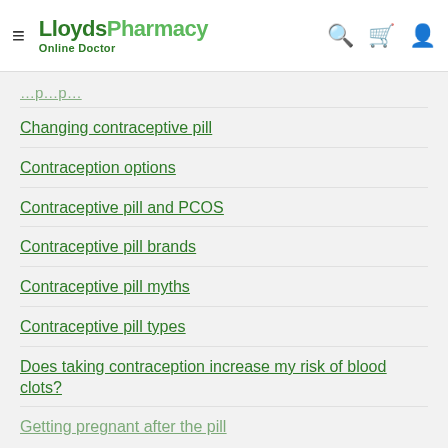LloydsPharmacy Online Doctor
Changing contraceptive pill
Contraception options
Contraceptive pill and PCOS
Contraceptive pill brands
Contraceptive pill myths
Contraceptive pill types
Does taking contraception increase my risk of blood clots?
Getting pregnant after the pill